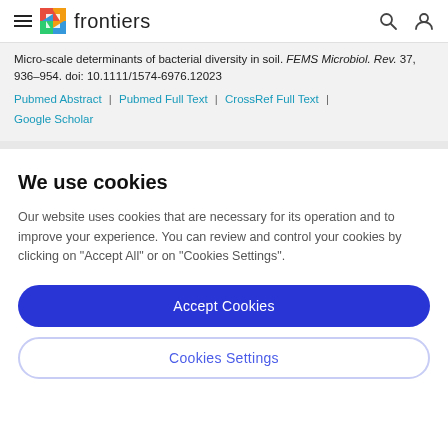frontiers
Micro-scale determinants of bacterial diversity in soil. FEMS Microbiol. Rev. 37, 936–954. doi: 10.1111/1574-6976.12023
Pubmed Abstract | Pubmed Full Text | CrossRef Full Text | Google Scholar
We use cookies
Our website uses cookies that are necessary for its operation and to improve your experience. You can review and control your cookies by clicking on "Accept All" or on "Cookies Settings".
Accept Cookies
Cookies Settings